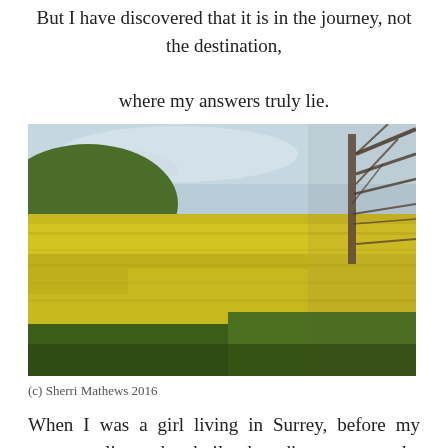But I have discovered that it is in the journey, not the destination,
where my answers truly lie.
[Figure (photo): A blurred landscape photo taken from a moving vehicle showing a bright yellow rapeseed field on rolling hills with bare tree branches on the right side and a pale blue sky with light clouds.]
(c) Sherri Mathews 2016
When I was a girl living in Surrey, before my parents split up, they built a boarding cattery at the end of our garden. One day, we had a surprise border: not a cat, but a fox